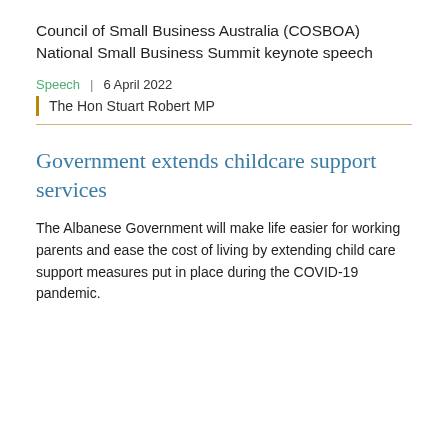Council of Small Business Australia (COSBOA) National Small Business Summit keynote speech
Speech  |  6 April 2022
The Hon Stuart Robert MP
Government extends childcare support services
The Albanese Government will make life easier for working parents and ease the cost of living by extending child care support measures put in place during the COVID-19 pandemic.